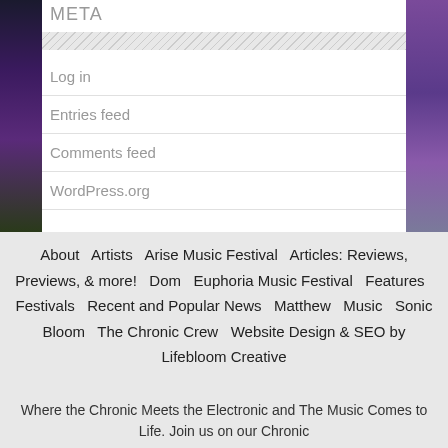META
Log in
Entries feed
Comments feed
WordPress.org
About   Artists   Arise Music Festival   Articles: Reviews, Previews, & more!   Dom   Euphoria Music Festival   Features   Festivals   Recent and Popular News   Matthew   Music   Sonic Bloom   The Chronic Crew   Website Design & SEO by Lifebloom Creative
Where the Chronic Meets the Electronic and The Music Comes to Life. Join us on our Chronic